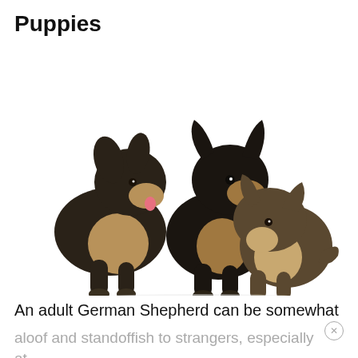Puppies
[Figure (photo): Three German Shepherd puppies on a white background. Two puppies sit upright on the left facing right with tongues slightly out, while a third puppy on the right faces downward and left.]
An adult German Shepherd can be somewhat
aloof and standoffish to strangers, especially at first, but they adore their own family members and